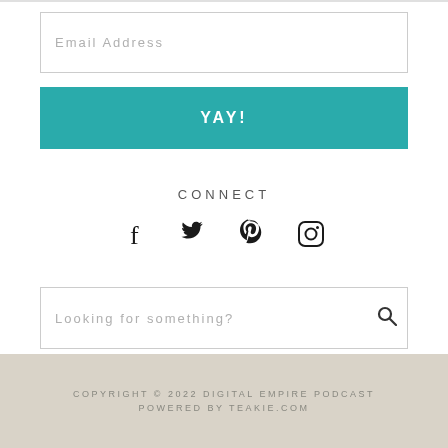Email Address
YAY!
CONNECT
[Figure (other): Social media icons: Facebook, Twitter, Pinterest, Instagram]
Looking for something?
COPYRIGHT © 2022 DIGITAL EMPIRE PODCAST POWERED BY TEAKIE.COM